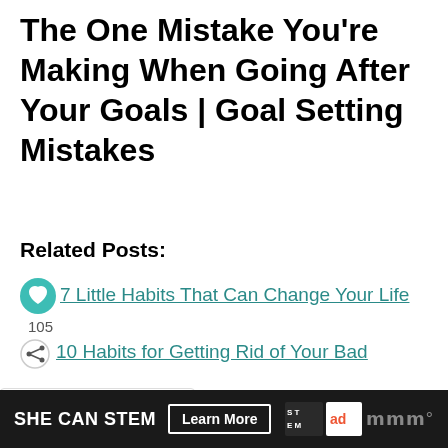The One Mistake You're Making When Going After Your Goals | Goal Setting Mistakes
Related Posts:
7 Little Habits That Can Change Your Life
105
10 Habits for Getting Rid of Your Bad
WHAT'S NEXT → How to Set Goals When...
or Good
How to Make Time for Your Personal
[Figure (screenshot): SHE CAN STEM advertisement banner with Learn More button and Ad Council logo]